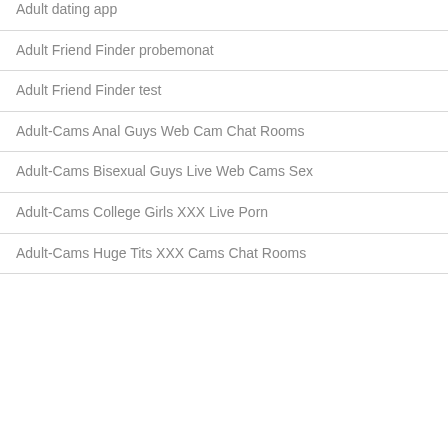Adult dating app
Adult Friend Finder probemonat
Adult Friend Finder test
Adult-Cams Anal Guys Web Cam Chat Rooms
Adult-Cams Bisexual Guys Live Web Cams Sex
Adult-Cams College Girls XXX Live Porn
Adult-Cams Huge Tits XXX Cams Chat Rooms